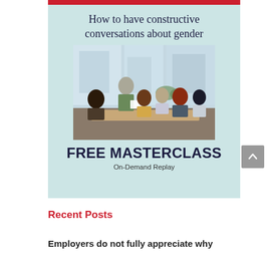[Figure (infographic): Promotional card for a Free Masterclass on-demand replay about how to have constructive conversations about gender, featuring a group meeting photo]
Recent Posts
Employers do not fully appreciate why